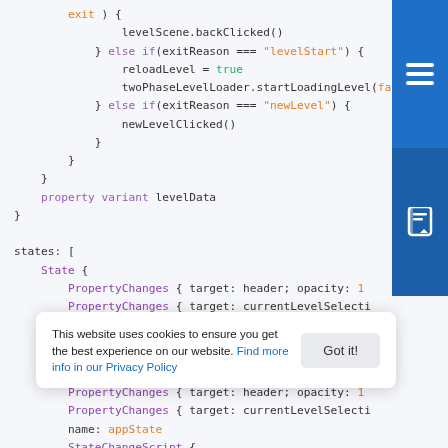[Figure (screenshot): Code editor screenshot showing QML/JavaScript code with syntax highlighting. Code includes: if/else blocks checking exitReason for 'levelStart' and 'newLevel', property variant levelData, states array with State, PropertyChanges, StateChangeScript blocks. Colors: purple for keywords, orange for strings, green for true/false, dark gray for plain code.]
This website uses cookies to ensure you get the best experience on our website. Find more info in our Privacy Policy
Got it!